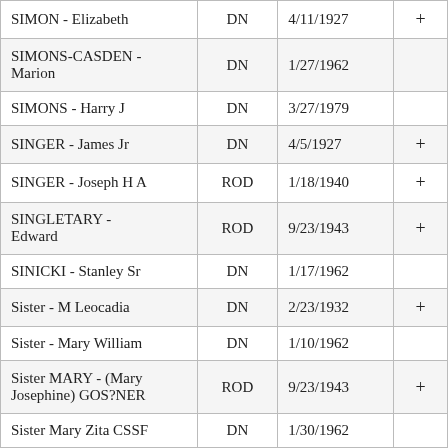| Name | Type | Date |  |
| --- | --- | --- | --- |
| SIMON - Elizabeth | DN | 4/11/1927 | + |
| SIMONS-CASDEN - Marion | DN | 1/27/1962 |  |
| SIMONS - Harry J | DN | 3/27/1979 |  |
| SINGER - James Jr | DN | 4/5/1927 | + |
| SINGER - Joseph H A | ROD | 1/18/1940 | + |
| SINGLETARY - Edward | ROD | 9/23/1943 | + |
| SINICKI - Stanley Sr | DN | 1/17/1962 |  |
| Sister - M Leocadia | DN | 2/23/1932 | + |
| Sister - Mary William | DN | 1/10/1962 |  |
| Sister MARY - (Mary Josephine) GOS?NER | ROD | 9/23/1943 | + |
| Sister Mary Zita CSSF | DN | 1/30/1962 |  |